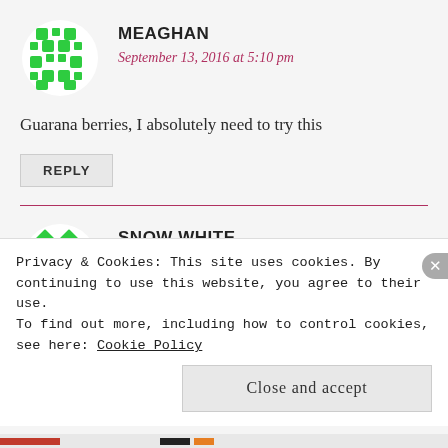[Figure (illustration): Green pixel/mosaic style avatar icon for user Meaghan]
MEAGHAN
September 13, 2016 at 5:10 pm
Guarana berries, I absolutely need to try this
REPLY
[Figure (illustration): Green diamond/lattice pattern avatar icon for user Snow White]
SNOW WHITE
September 13, 2016 at 5:32 pm
Privacy & Cookies: This site uses cookies. By continuing to use this website, you agree to their use.
To find out more, including how to control cookies, see here: Cookie Policy
Close and accept